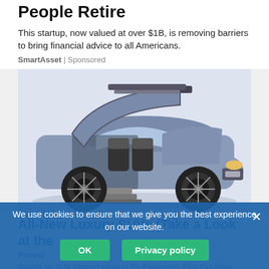People Retire
This startup, now valued at over $1B, is removing barriers to bring financial advice to all Americans.
SmartAsset | Sponsored
[Figure (photo): Luxury SUV with gull-wing doors open, showing interior seating and retractable steps, parked on a light background.]
All-New Luxury SUVs (Take a Look at the Prices)
Buying an SUV Doesn't Have to Be Expensive. Find Out More Today.
We use cookies to ensure that we give you the best experience on our website.
OK   Privacy policy